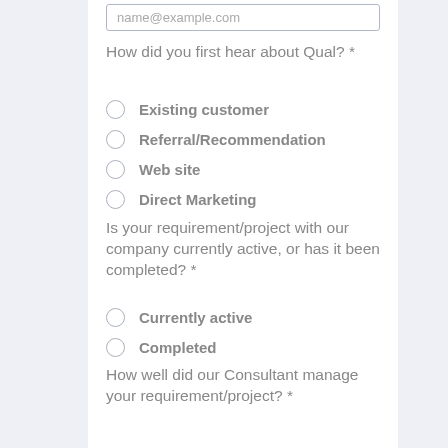name@example.com
How did you first hear about Qual? *
Existing customer
Referral/Recommendation
Web site
Direct Marketing
Is your requirement/project with our company currently active, or has it been completed? *
Currently active
Completed
How well did our Consultant manage your requirement/project? *
Extremely well
Satisfactorily
Unsatisfactorily
Compared to our competitors, was the